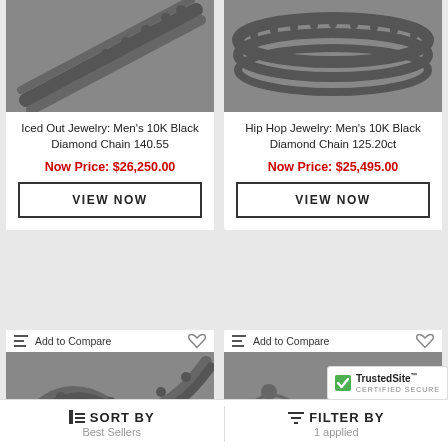[Figure (photo): Grayscale photo of a black diamond chain necklace - Iced Out Jewelry product]
Iced Out Jewelry: Men's 10K Black Diamond Chain 140.55
Now Price: $26,250.00
VIEW NOW
[Figure (photo): Grayscale photo of a black diamond chain necklace - Hip Hop Jewelry product]
Hip Hop Jewelry: Men's 10K Black Diamond Chain 125.20ct
Now Price: $25,495.00
VIEW NOW
Add to Compare
[Figure (photo): Grayscale photo of a diamond chain necklace product bottom left]
Add to Compare
[Figure (photo): Grayscale photo of a beaded chain necklace product bottom right]
SORT BY  Best Sellers | FILTER BY  1 applied